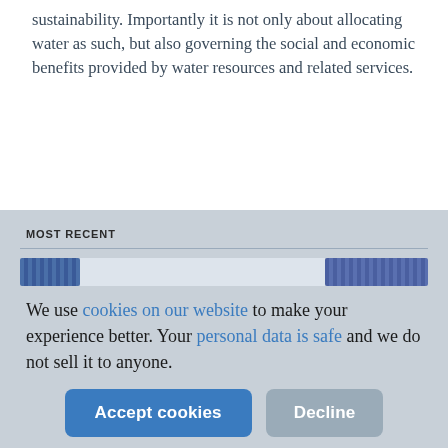sustainability. Importantly it is not only about allocating water as such, but also governing the social and economic benefits provided by water resources and related services.
MOST RECENT
[Figure (screenshot): Thumbnail bar with blue patterned elements on left and right and a light grey area in the center, representing recent content/navigation items]
We use cookies on our website to make your experience better. Your personal data is safe and we do not sell it to anyone.